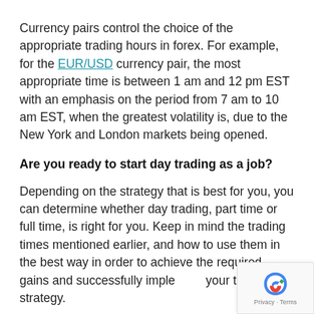Currency pairs control the choice of the appropriate trading hours in forex. For example, for the EUR/USD currency pair, the most appropriate time is between 1 am and 12 pm EST with an emphasis on the period from 7 am to 10 am EST, when the greatest volatility is, due to the New York and London markets being opened.
Are you ready to start day trading as a job?
Depending on the strategy that is best for you, you can determine whether day trading, part time or full time, is right for you. Keep in mind the trading times mentioned earlier, and how to use them in the best way in order to achieve the required gains and successfully implement your trading strategy.